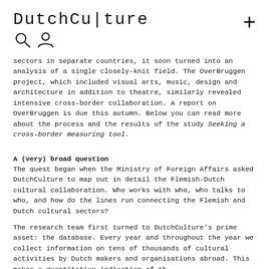DutchCulture
sectors in separate countries, it soon turned into an analysis of a single closely-knit field. The OverBruggen project, which included visual arts, music, design and architecture in addition to theatre, similarly revealed intensive cross-border collaboration. A report on OverBruggen is due this autumn. Below you can read more about the process and the results of the study Seeking a cross-border measuring tool.
A (very) broad question
The quest began when the Ministry of Foreign Affairs asked DutchCulture to map out in detail the Flemish-Dutch cultural collaboration. Who works with who, who talks to who, and how do the lines run connecting the Flemish and Dutch cultural sectors?
The research team first turned to DutchCulture's prime asset: the database. Every year and throughout the year we collect information on tens of thousands of cultural activities by Dutch makers and organisations abroad. This makes a quantitative indication of the